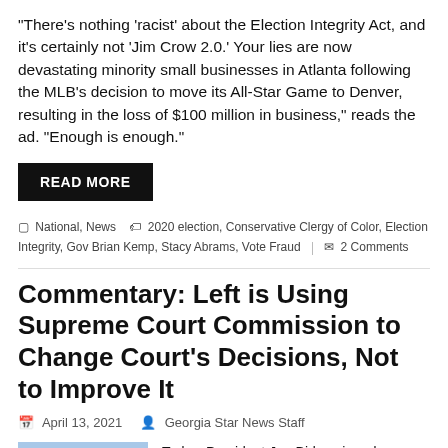“There’s nothing ‘racist’ about the Election Integrity Act, and it’s certainly not ‘Jim Crow 2.0.’ Your lies are now devastating minority small businesses in Atlanta following the MLB’s decision to move its All-Star Game to Denver, resulting in the loss of $100 million in business,” reads the ad. “Enough is enough.”
READ MORE
National, News   2020 election, Conservative Clergy of Color, Election Integrity, Gov Brian Kemp, Stacy Abrams, Vote Fraud   2 Comments
Commentary: Left is Using Supreme Court Commission to Change Court’s Decisions, Not to Improve It
April 13, 2021   Georgia Star News Staff
Today, President Joe Biden signed an executive